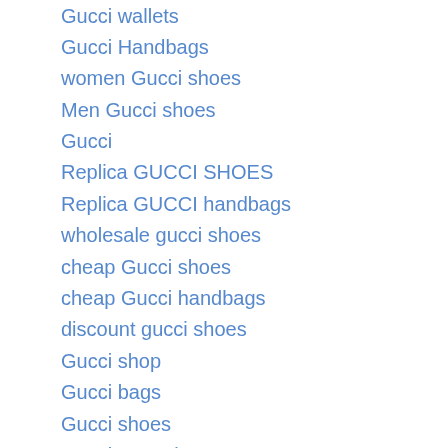Gucci wallets
Gucci Handbags
women Gucci shoes
Men Gucci shoes
Gucci
Replica GUCCI SHOES
Replica GUCCI handbags
wholesale gucci shoes
cheap Gucci shoes
cheap Gucci handbags
discount gucci shoes
Gucci shop
Gucci bags
Gucci shoes
Gucci ON sale
Gucci Belts
Gucci small accessories
Gucci hats & scarves
Gucci wallets
Gucci Handbags
women Gucci shoes
Men Gucci shoes